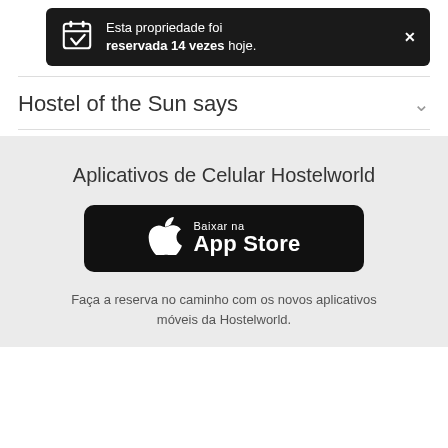[Figure (screenshot): Notification bar: 'Esta propriedade foi reservada 14 vezes hoje.' with calendar icon and close X button on dark background]
Hostel of the Sun says
Aplicativos de Celular Hostelworld
[Figure (logo): Download on the App Store button - Baixar na App Store]
Faça a reserva no caminho com os novos aplicativos móveis da Hostelworld.